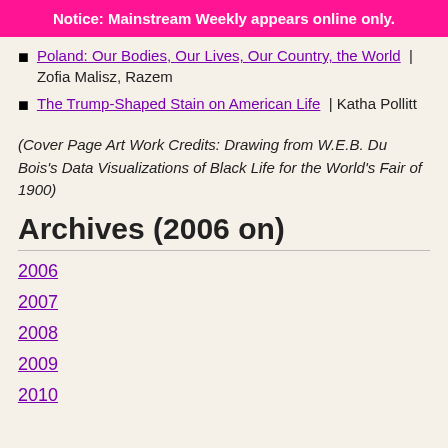Notice: Mainstream Weekly appears online only.
Poland: Our Bodies, Our Lives, Our Country, the World | Zofia Malisz, Razem
The Trump-Shaped Stain on American Life | Katha Pollitt
(Cover Page Art Work Credits: Drawing from W.E.B. Du Bois's Data Visualizations of Black Life for the World's Fair of 1900)
Archives (2006 on)
2006
2007
2008
2009
2010